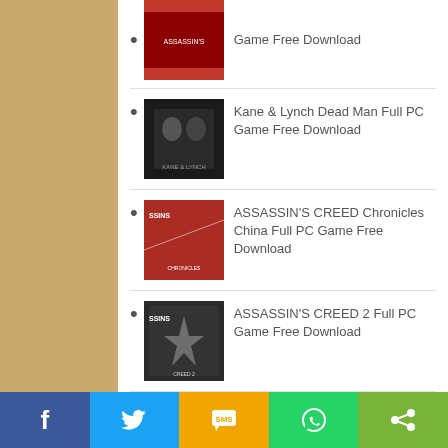Game Free Download
Kane & Lynch Dead Man Full PC Game Free Download
ASSASSIN'S CREED Chronicles China Full PC Game Free Download
ASSASSIN'S CREED 2 Full PC Game Free Download
ARCHIVES
August 2019
July 2019